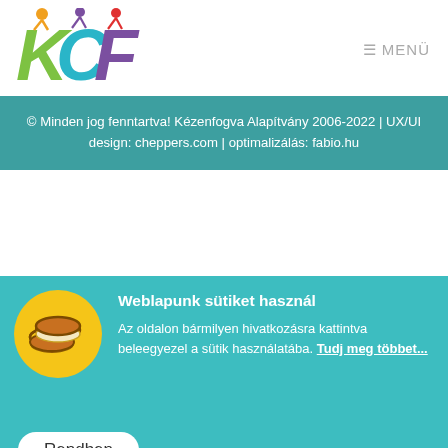≡ MENÜ
[Figure (logo): KCF colorful letters logo with stick figures]
© Minden jog fenntartva! Kézenfogva Alapítvány 2006-2022 | UX/UI design: cheppers.com | optimalizálás: fabio.hu
[Figure (illustration): Cookie icon: two sandwich cookies on yellow circle background]
Weblapunk sütiket használ
Az oldalon bármilyen hivatkozásra kattintva beleegyezel a sütik használatába. Tudj meg többet...
Rendben